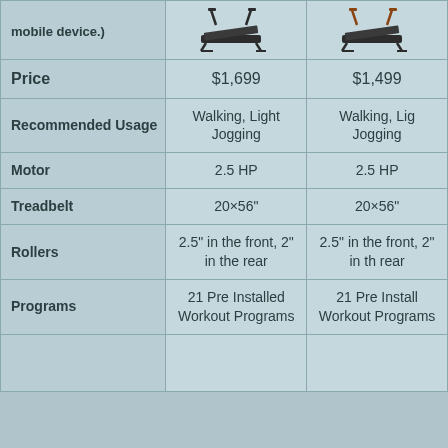| Feature | Product 1 | Product 2 |
| --- | --- | --- |
| (connect via mobile device.) | [treadmill image] | [treadmill image] |
| Price | $1,699 | $1,499 |
| Recommended Usage | Walking, Light Jogging | Walking, Light Jogging |
| Motor | 2.5 HP | 2.5 HP |
| Treadbelt | 20×56" | 20×56" |
| Rollers | 2.5" in the front, 2" in the rear | 2.5" in the front, 2" in the rear |
| Programs | 21 Pre Installed Workout Programs | 21 Pre Installed Workout Programs |
|  |  |  |